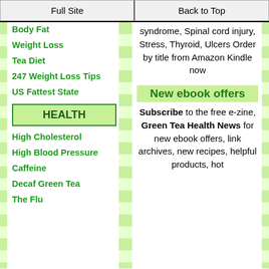Full Site | Back to Top
Body Fat
Weight Loss
Tea Diet
247 Weight Loss Tips
US Fattest State
HEALTH
High Cholesterol
High Blood Pressure
Caffeine
Decaf Green Tea
The Flu
syndrome, Spinal cord injury, Stress, Thyroid, Ulcers Order by title from Amazon Kindle now
New ebook offers
Subscribe to the free e-zine, Green Tea Health News for new ebook offers, link archives, new recipes, helpful products, hot